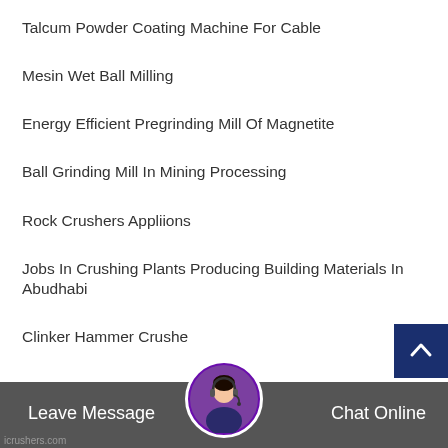Talcum Powder Coating Machine For Cable
Mesin Wet Ball Milling
Energy Efficient Pregrinding Mill Of Magnetite
Ball Grinding Mill In Mining Processing
Rock Crushers Appliions
Jobs In Crushing Plants Producing Building Materials In Abudhabi
Clinker Hammer Crushe
Leave Message   Chat Online